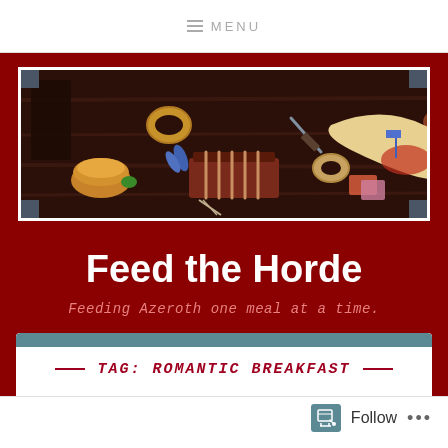MENU
[Figure (illustration): A wide banner illustration showing various fantasy food items on a dark wooden table: bread, ribs, onion rings, a knife, vegetables, cheese, a large bone/horn with meat, and other food items. The image has a decorative frame with corner brackets.]
Feed the Horde
Feeding Azeroth one meal at a time.
TAG: ROMANTIC BREAKFAST
Follow